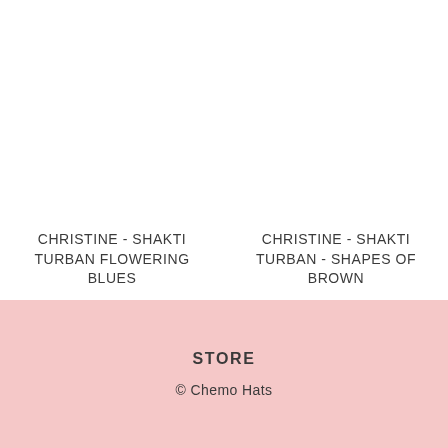CHRISTINE - SHAKTI TURBAN FLOWERING BLUES
€63,95
CHRISTINE - SHAKTI TURBAN - SHAPES OF BROWN
€70,95
STORE
© Chemo Hats